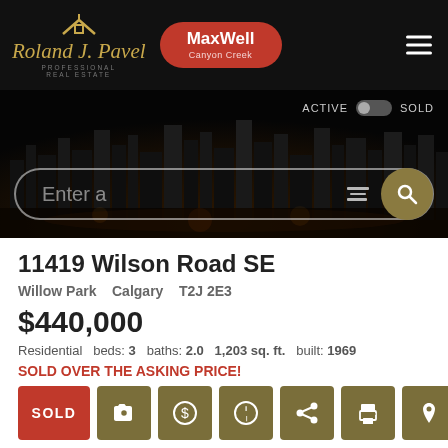[Figure (screenshot): Real estate website header with Roland J. Davel Professional Real Estate logo and MaxWell Canyon Creek branding on dark background]
[Figure (photo): City skyline at night with search bar overlay showing 'Enter a' placeholder text and filter/search controls, with ACTIVE/SOLD toggle]
11419 Wilson Road SE
Willow Park   Calgary   T2J 2E3
$440,000
Residential  beds: 3  baths: 2.0  1,203 sq. ft.  built: 1969
SOLD OVER THE ASKING PRICE!
SOLD
Details  Photos  Videos  Map